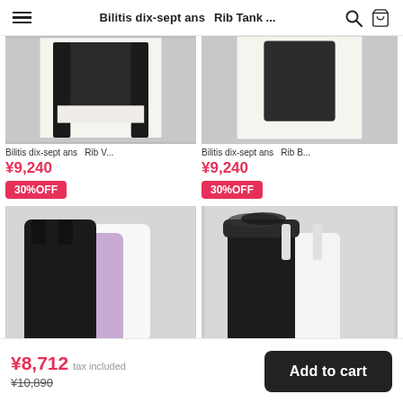Bilitis dix-sept ans   Rib Tank ...
[Figure (photo): Partially visible dark knit cardigan/top on mannequin, white background]
Bilitis dix-sept ans   Rib V...
¥9,240
30%OFF
[Figure (photo): Partially visible dark ribbed top on mannequin, white background]
Bilitis dix-sept ans   Rib B...
¥9,240
30%OFF
[Figure (photo): Three ribbed tank tops in black, white, and lavender/purple laid flat]
[Figure (photo): Multiple lace-trimmed camisoles/tank tops in black and white laid flat]
¥8,712 tax included  ¥10,890   Add to cart